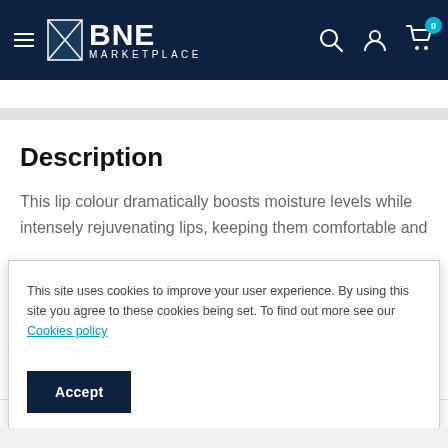BNE MARKETPLACE
Description
This lip colour dramatically boosts moisture levels while intensely rejuvenating lips, keeping them comfortable and
This site uses cookies to improve your user experience. By using this site you agree to these cookies being set. To find out more see our Cookies policy
Accept